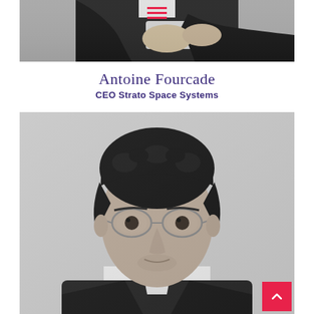hamburger menu icon
[Figure (photo): Black and white partial photo showing a person in a dark suit with arms crossed, cropped to show torso and hands only]
Antoine Fourcade
CEO Strato Space Systems
[Figure (photo): Black and white portrait photo of a young man with dark curly hair, wearing round wire-framed glasses and a suit, looking directly at the camera]